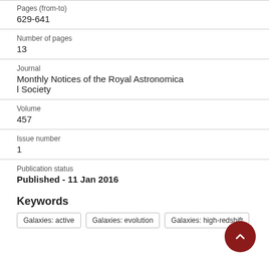Pages (from-to)
629-641
Number of pages
13
Journal
Monthly Notices of the Royal Astronomical Society
Volume
457
Issue number
1
Publication status
Published - 11 Jan 2016
Keywords
Galaxies: active
Galaxies: evolution
Galaxies: high-redshift